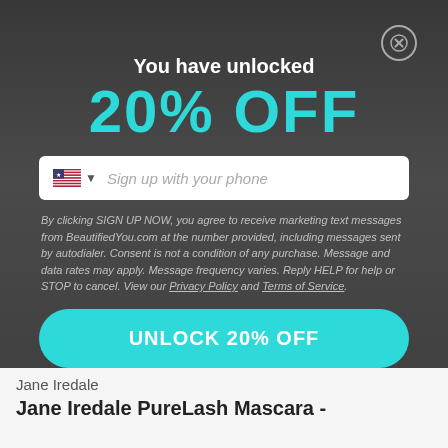You have unlocked
20% OFF
Sign up with your phone
By clicking SIGN UP NOW, you agree to receive marketing text messages from BeautifiedYou.com at the number provided, including messages sent by autodialer. Consent is not a condition of any purchase. Message and data rates may apply. Message frequency varies. Reply HELP for help or STOP to cancel. View our Privacy Policy and Terms of Service.
UNLOCK 20% OFF
Jane Iredale
Jane Iredale PureLash Mascara -